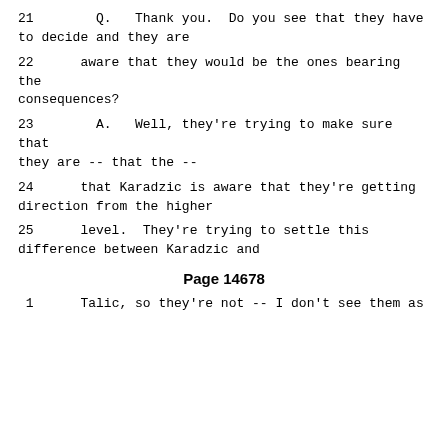21        Q.   Thank you.  Do you see that they have to decide and they are
22      aware that they would be the ones bearing the consequences?
23        A.   Well, they're trying to make sure that they are -- that the --
24      that Karadzic is aware that they're getting direction from the higher
25      level.  They're trying to settle this difference between Karadzic and
Page 14678
1      Talic, so they're not -- I don't see them as